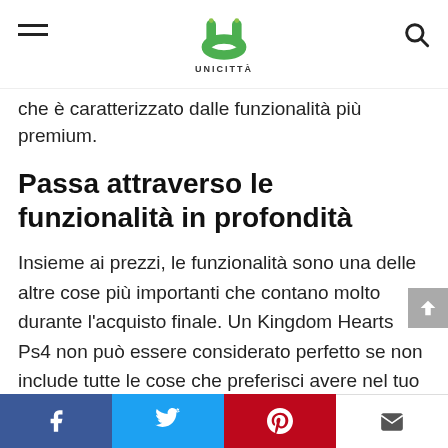UNICITTÀ
che è caratterizzato dalle funzionalità più premium.
Passa attraverso le funzionalità in profondità
Insieme ai prezzi, le funzionalità sono una delle altre cose più importanti che contano molto durante l'acquisto finale. Un Kingdom Hearts Ps4 non può essere considerato perfetto se non include tutte le cose che preferisci avere nel tuo acquisto finale.
Se sei disposto a ottenere un buon rapporto qualità-prezzo, ti suggerirei di andare con un
Facebook | Twitter | Pinterest | Email